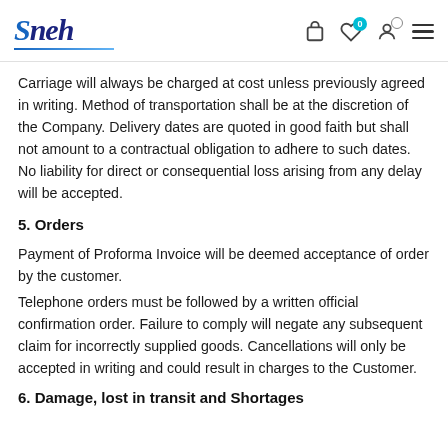Sneh [logo with navigation icons]
Carriage will always be charged at cost unless previously agreed in writing. Method of transportation shall be at the discretion of the Company. Delivery dates are quoted in good faith but shall not amount to a contractual obligation to adhere to such dates. No liability for direct or consequential loss arising from any delay will be accepted.
5. Orders
Payment of Proforma Invoice will be deemed acceptance of order by the customer.
Telephone orders must be followed by a written official confirmation order. Failure to comply will negate any subsequent claim for incorrectly supplied goods. Cancellations will only be accepted in writing and could result in charges to the Customer.
6. Damage, lost in transit and Shortages